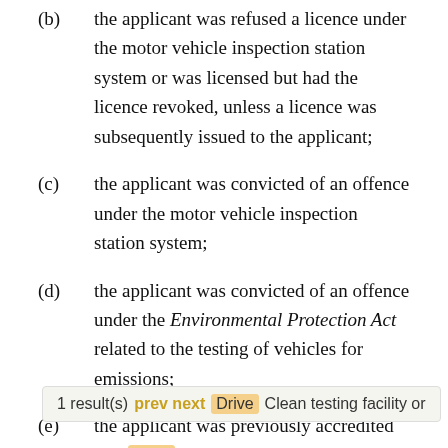(b) the applicant was refused a licence under the motor vehicle inspection station system or was licensed but had the licence revoked, unless a licence was subsequently issued to the applicant;
(c) the applicant was convicted of an offence under the motor vehicle inspection station system;
(d) the applicant was convicted of an offence under the Environmental Protection Act related to the testing of vehicles for emissions;
(e) the applicant was previously accredited as a Drive Clean testing facility or Emissions Test Facility and the